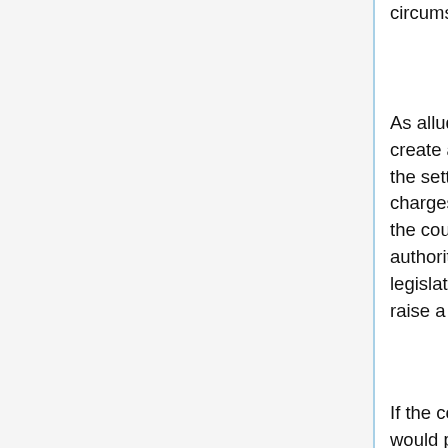circumstances that “ought” to be recognized.
As alluded, the penumbra problem arises here. The court was asked to create a new fiduciary duty. The specific duty sought related primarily to the setting of accommodation charges. The setting of accommodation charges is a purely regulative act undertaken by the legislature. It is not for the court to intervene in this process. To do so would overstep the court's authority. As such, setting of the accommodation charges was left to the legislature with the court asserting that vulnerability alone is insufficient to raise a fiduciary duty.
If the concept of fiduciary duty was grounded in law and morality, as Fuller would propose, the court may have been more inclined to extend this duty. Yet